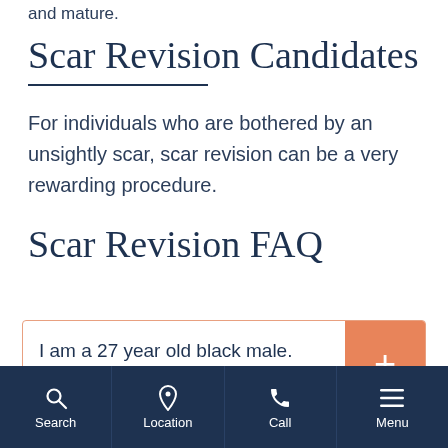and mature.
Scar Revision Candidates
For individuals who are bothered by an unsightly scar, scar revision can be a very rewarding procedure.
Scar Revision FAQ
I am a 27 year old black male. As a teenager I had horrible
Search  Location  Call  Menu